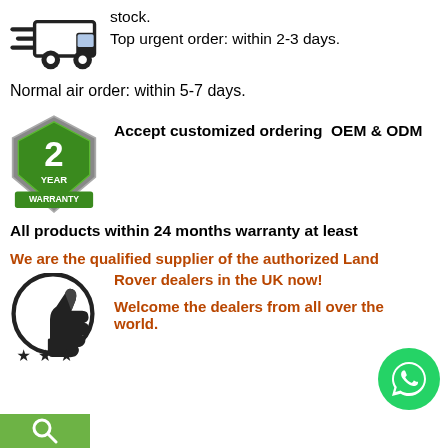[Figure (illustration): Fast delivery truck icon (black line art)]
stock.
Top urgent order: within 2-3 days.
Normal air order: within 5-7 days.
[Figure (illustration): 2 Year Warranty shield badge (green)]
Accept customized ordering  OEM & ODM
All products within 24 months warranty at least
We are the qualified supplier of the authorized Land Rover dealers in the UK now!

Welcome the dealers from all over the world.
[Figure (illustration): Thumbs up with stars rating circle icon]
[Figure (illustration): WhatsApp green circle button with phone icon]
[Figure (illustration): Green search bar at bottom left]